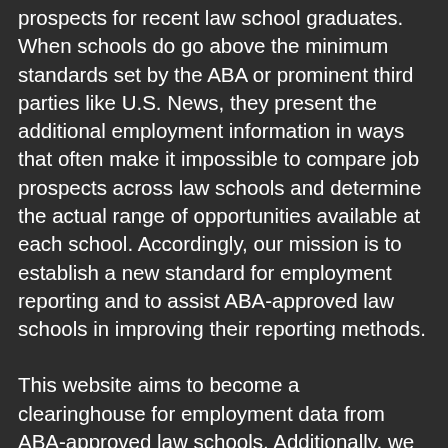prospects for recent law school graduates. When schools do go above the minimum standards set by the ABA or prominent third parties like U.S. News, they present the additional employment information in ways that often make it impossible to compare job prospects across law schools and determine the actual range of opportunities available at each school. Accordingly, our mission is to establish a new standard for employment reporting and to assist ABA-approved law schools in improving their reporting methods.
This website aims to become a clearinghouse for employment data from ABA-approved law schools. Additionally, we provide a closer look at how career services and admissions offices work together at ABA-approved law schools to develop relationships with employers and assist students in finding work. We believe that publishing employment lists will supplement, rather than replace, the many job placement summaries